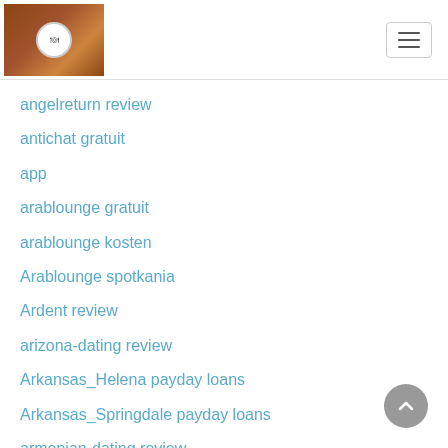Website header with logo and hamburger menu
angelreturn review
antichat gratuit
app
arablounge gratuit
arablounge kosten
Arablounge spotkania
Ardent review
arizona-dating review
Arkansas_Helena payday loans
Arkansas_Springdale payday loans
armenian-dating review